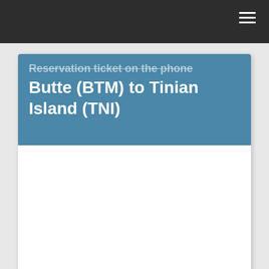navigation bar with hamburger menu
Reservation ticket on the phone Butte (BTM) to Tinian Island (TNI)
booking airline ticket on the call Morgantown (MGW) - San Juan / Miramar (SIG) booking ticket over the phone Charlotte Amalie, St. Thomas (STT) to Charleston (CHS) cancellation airline ticket over the phone Hilo, Hawaii (Ito) to Twin Falls (TWF) rebooking airline